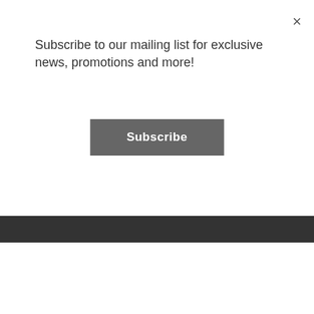×
Subscribe to our mailing list for exclusive news, promotions and more!
Subscribe